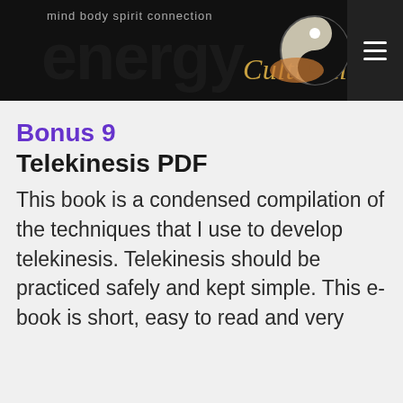mind body spirit connection — energy Cultivation
Bonus 9
Telekinesis PDF
This book is a condensed compilation of the techniques that I use to develop telekinesis. Telekinesis should be practiced safely and kept simple. This e-book is short, easy to read and very